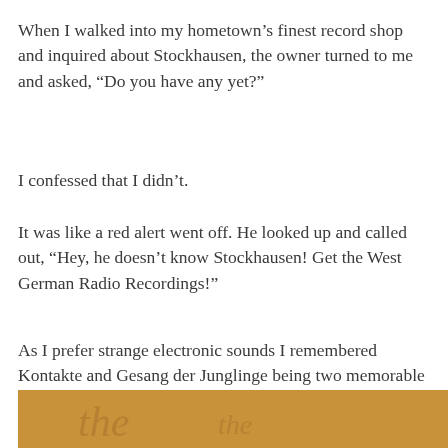When I walked into my hometown's finest record shop and inquired about Stockhausen, the owner turned to me and asked, “Do you have any yet?”
I confessed that I didn’t.
It was like a red alert went off. He looked up and called out, “Hey, he doesn’t know Stockhausen! Get the West German Radio Recordings!”
As I prefer strange electronic sounds I remembered Kontakte and Gesang der Junglinge being two memorable tracks from youtube and the 75 LP-rip megatorrent I picked up of his work. This was an original German pressing in unplayed condition so I didn’t pass it up!
[Figure (photo): Partial view of a brown/tan album cover with decorative text visible at the bottom of the page]